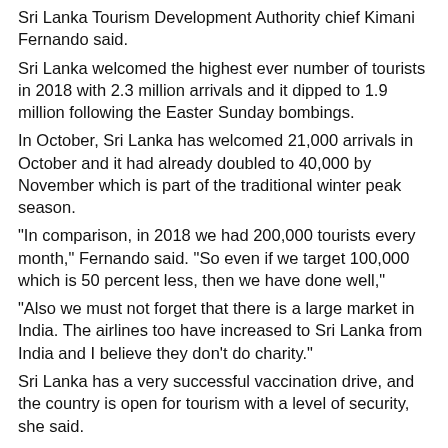Sri Lanka Tourism Development Authority chief Kimani Fernando said.
Sri Lanka welcomed the highest ever number of tourists in 2018 with 2.3 million arrivals and it dipped to 1.9 million following the Easter Sunday bombings.
In October, Sri Lanka has welcomed 21,000 arrivals in October and it had already doubled to 40,000 by November which is part of the traditional winter peak season.
“In comparison, in 2018 we had 200,000 tourists every month,” Fernando said. “So even if we target 100,000 which is 50 percent less, then we have done well,”
“Also we must not forget that there is a large market in India. The airlines too have increased to Sri Lanka from India and I believe they don’t do charity.”
Sri Lanka has a very successful vaccination drive, and the country is open for tourism with a level of security, she said.
A number of airlines had already resumed flights to Sri Lanka. (Colombo/Dec07/2021)
[Figure (photo): Small thumbnail image of a scenic location in Sri Lanka]
Sri Lanka tourists hotels asked to take